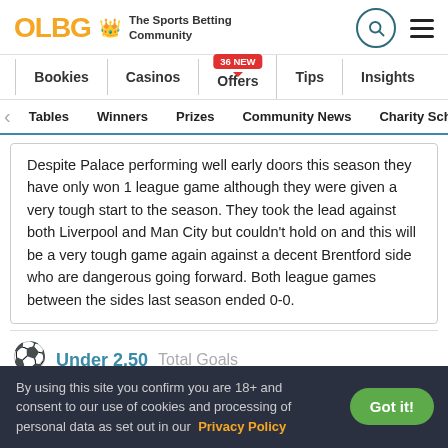OLBG The Sports Betting Community
Bookies | Casinos | Offers 36 NEW | Tips | Insights
Tables | Winners | Prizes | Community News | Charity Scheme
Despite Palace performing well early doors this season they have only won 1 league game although they were given a very tough start to the season. They took the lead against both Liverpool and Man City but couldn't hold on and this will be a very tough game again against a decent Brentford side who are dangerous going forward. Both league games between the sides last season ended 0-0.
Under 2.50   Total Goals
By using this site you confirm you are 18+ and consent to our use of cookies and processing of personal data as set out in our Privacy Policy